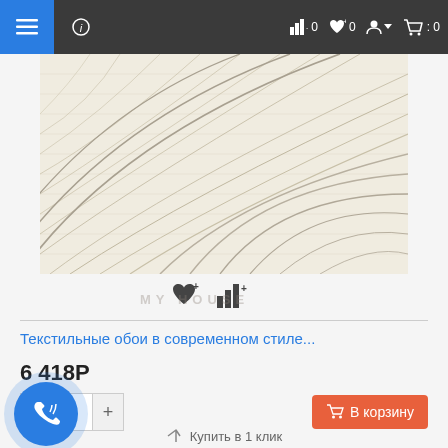Navigation bar with menu, info, and cart icons
[Figure (photo): Textile wallpaper product image showing beige/cream fabric with subtle curved line patterns radiating outward]
MY HOUSE (watermark)
Текстильные обои в современном стиле...
6 418Р
1  В корзину
Купить в 1 клик